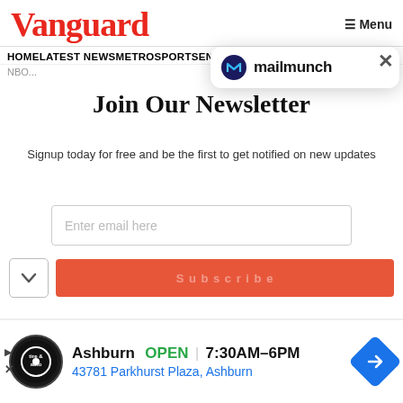Vanguard   ≡ Menu
HOME  LATEST NEWS  METRO  SPORTS  ENTERTAINMENT...
[Figure (screenshot): Mailmunch popup widget with logo and brand name 'mailmunch']
Join Our Newsletter
Signup today for free and be the first to get notified on new updates
Enter email here (input field)
[Figure (screenshot): Subscribe button (red/orange) partially visible at bottom of modal]
Ashburn  OPEN  7:30AM–6PM   43781 Parkhurst Plaza, Ashburn